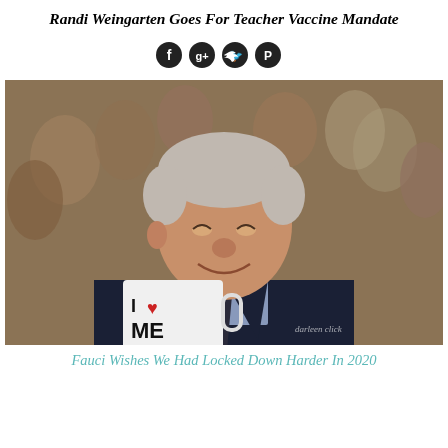Randi Weingarten Goes For Teacher Vaccine Mandate
[Figure (illustration): Social media sharing icons: Facebook, Google+, Twitter, Pinterest — dark circular buttons]
[Figure (photo): A smiling older man in a dark suit and tie holding a white mug that reads 'I ♥ ME', with a blurred crowd in the background. Watermark reads 'darleen click'.]
Fauci Wishes We Had Locked Down Harder In 2020